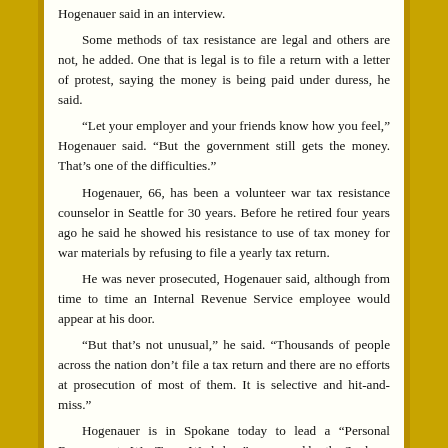Hogenauer said in an interview.

Some methods of tax resistance are legal and others are not, he added. One that is legal is to file a return with a letter of protest, saying the money is being paid under duress, he said.

"Let your employer and your friends know how you feel," Hogenauer said. "But the government still gets the money. That's one of the difficulties."

Hogenauer, 66, has been a volunteer war tax resistance counselor in Seattle for 30 years. Before he retired four years ago he said he showed his resistance to use of tax money for war materials by refusing to file a yearly tax return.

He was never prosecuted, Hogenauer said, although from time to time an Internal Revenue Service employee would appear at his door.

"But that's not unusual," he said. "Thousands of people across the nation don't file a tax return and there are no efforts at prosecution of most of them. It is selective and hit-and-miss."

Hogenauer is in Spokane today to lead a "Personal Responses to War Taxes Workshop" sponsored by the Spokane Fellowship of Reconciliation.